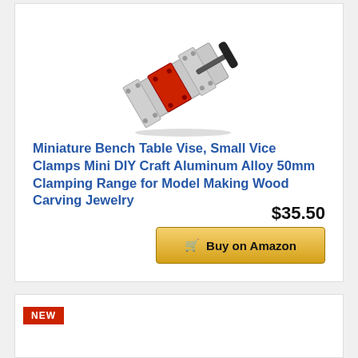[Figure (photo): Miniature bench table vise / clamp, aluminum alloy with red sliding jaw and black screw handle]
Miniature Bench Table Vise, Small Vice Clamps Mini DIY Craft Aluminum Alloy 50mm Clamping Range for Model Making Wood Carving Jewelry
$35.50
Buy on Amazon